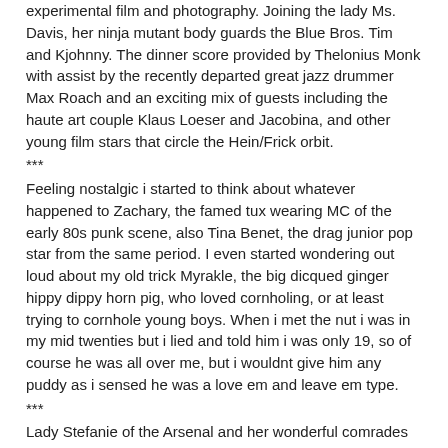experimental film and photography. Joining the lady Ms. Davis, her ninja mutant body guards the Blue Bros. Tim and Kjohnny. The dinner score provided by Thelonius Monk with assist by the recently departed great jazz drummer Max Roach and an exciting mix of guests including the haute art couple Klaus Loeser and Jacobina, and other young film stars that circle the Hein/Frick orbit.
***
Feeling nostalgic i started to think about whatever happened to Zachary, the famed tux wearing MC of the early 80s punk scene, also Tina Benet, the drag junior pop star from the same period. I even started wondering out loud about my old trick Myrakle, the big dicqued ginger hippy dippy horn pig, who loved cornholing, or at least trying to cornhole young boys. When i met the nut i was in my mid twenties but i lied and told him i was only 19, so of course he was all over me, but i wouldnt give him any puddy as i sensed he was a love em and leave em type.
***
Lady Stefanie of the Arsenal and her wonderful comrades in arms have been putting together some sublime katakas that are becoming the talk of all Berlin town. And with special